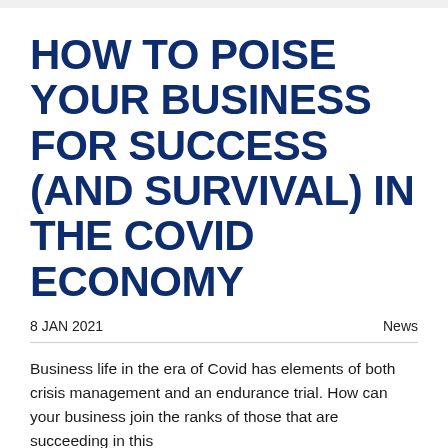HOW TO POISE YOUR BUSINESS FOR SUCCESS (AND SURVIVAL) IN THE COVID ECONOMY
8 JAN 2021    News
Business life in the era of Covid has elements of both crisis management and an endurance trial. How can your business join the ranks of those that are succeeding in this